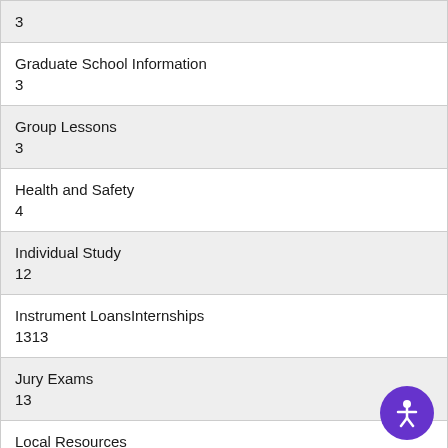| 3 |
| Graduate School Information
3 |
| Group Lessons
3 |
| Health and Safety
4 |
| Individual Study
12 |
| Instrument LoansInternships
1313 |
| Jury Exams
13 |
| Local Resources |